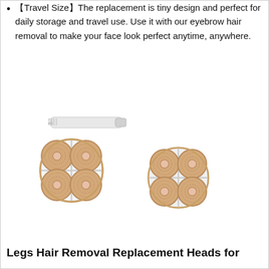【Travel Size】The replacement is tiny design and perfect for daily storage and travel use. Use it with our eyebrow hair removal to make your face look perfect anytime, anywhere.
[Figure (photo): Two four-headed replacement shaver/hair removal heads in white and rose-gold color, plus a small white cleaning brush above them.]
Legs Hair Removal Replacement Heads for